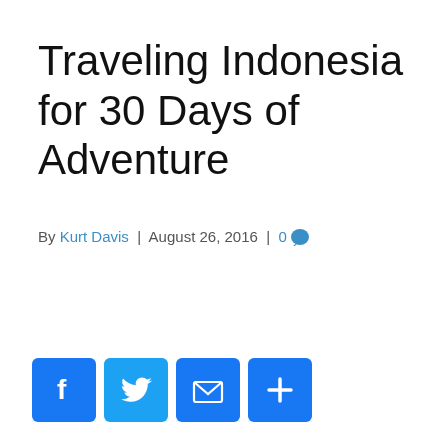Traveling Indonesia for 30 Days of Adventure
By Kurt Davis | August 26, 2016 | 0 💬
[Figure (infographic): Social share buttons: Facebook, Twitter, Email, and a plus/more button, rendered as blue rounded square icons with white symbols.]